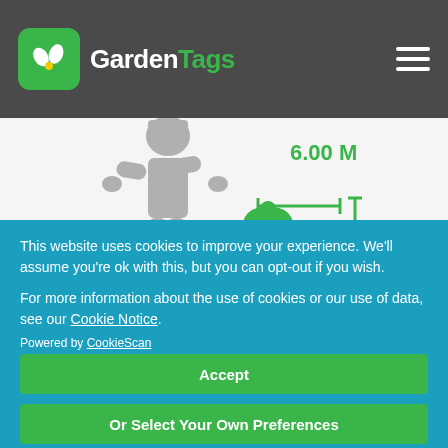[Figure (logo): GardenTags logo with green icon and white/green text on dark grey header bar with hamburger menu]
[Figure (illustration): Plant height illustration showing a grey human figure silhouette next to a green flower icon with '6.00 M' measurement and horizontal/vertical measurement arrows in green]
This website uses cookies to improve your experience. We'll assume you're ok with this, but you can opt-out if you wish.
For more information about the use of cookies or our use of data, see our Cookie Notice.
Powered by CookieScan
Accept
Or Select Your Own Preferences